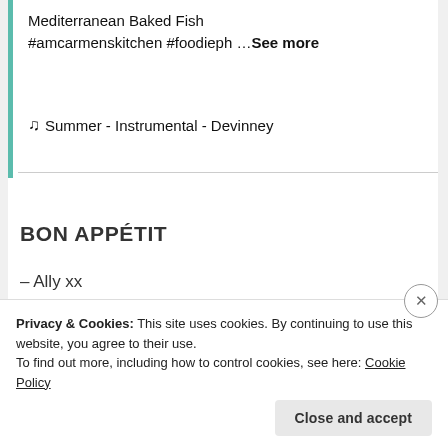Mediterranean Baked Fish #amcarmenskitchen #foodieph …See more
♫ Summer - Instrumental - Devinney
Advertisements
BON APPÉTIT
– Ally xx
Privacy & Cookies: This site uses cookies. By continuing to use this website, you agree to their use.
To find out more, including how to control cookies, see here: Cookie Policy
Close and accept